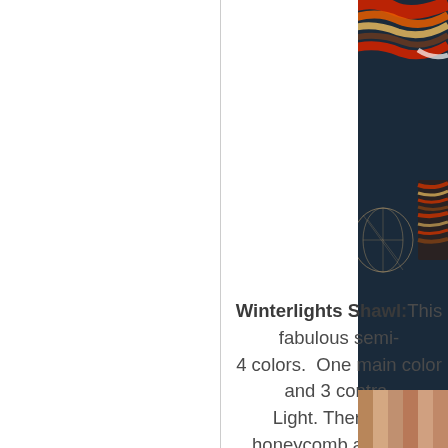[Figure (photo): Close-up photo of a colorful knitted shawl draped over a wire sculpture/mannequin head, showing red, orange, cream, and brown striped knitting pattern against a dark blue background]
Winterlights Shawl: This fabulous semi- 4 colors. One main color and 3 contra- Light. There is a honeycomb and bub- end. Pattern written by Stephen We- Ravelry. Interm-
[Figure (photo): Partial photo visible at bottom of page showing pink/brick colored background]